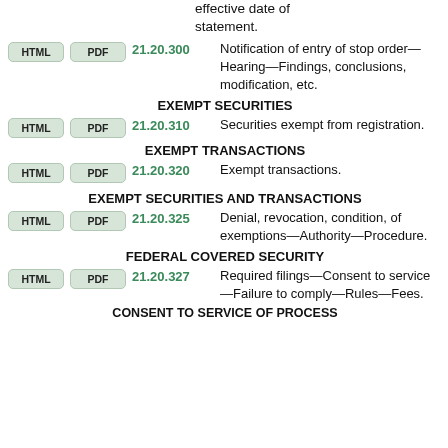effective date of statement.
21.20.300 Notification of entry of stop order—Hearing—Findings, conclusions, modification, etc.
EXEMPT SECURITIES
21.20.310 Securities exempt from registration.
EXEMPT TRANSACTIONS
21.20.320 Exempt transactions.
EXEMPT SECURITIES AND TRANSACTIONS
21.20.325 Denial, revocation, condition, of exemptions—Authority—Procedure.
FEDERAL COVERED SECURITY
21.20.327 Required filings—Consent to service—Failure to comply—Rules—Fees.
CONSENT TO SERVICE OF PROCESS